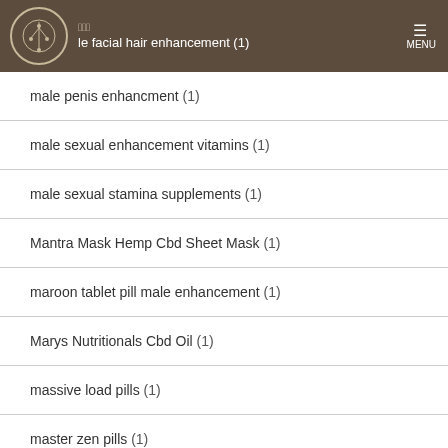male facial hair enhancement (1)
male penis enhancment (1)
male sexual enhancement vitamins (1)
male sexual stamina supplements (1)
Mantra Mask Hemp Cbd Sheet Mask (1)
maroon tablet pill male enhancement (1)
Marys Nutritionals Cbd Oil (1)
massive load pills (1)
master zen pills (1)
max performer male enhancement pills (1)